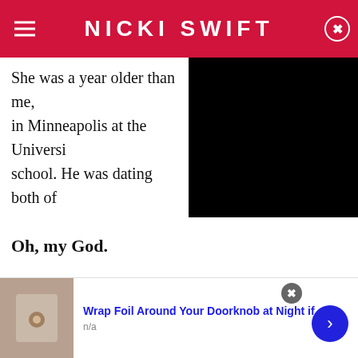NICKI SWIFT
She was a year older than me, in Minneapolis at the Universi school. He was dating both of
[Figure (other): Black video player overlay covering right portion of article text]
Oh, my God.
We all end things. I ended up dating him a while after we found that out, but we all ended things. We ended up being in the same sorority. She ended up being my roommate sophomore year. Because of her, I met one of my best friends, who is a co-host on the show
[Figure (infographic): Advertisement bar at bottom with thumbnail image of decorative doorknob, blue link text reading 'Wrap Foil Around Your Doorknob at Night if', subtext 'n/a', close button and blue arrow button]